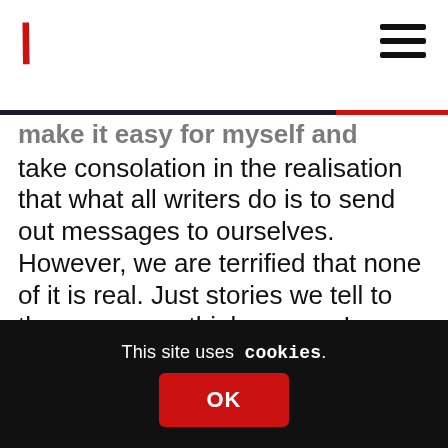\ [logo] [hamburger menu]
...make it easy for myself and take consolation in the realisation that what all writers do is to send out messages to ourselves. However, we are terrified that none of it is real. Just stories we tell to the person we think we are. In these stories it is always night and we are always alone and are, like Dante, in exile. All writers are alone and in exile no matter what else they think. That is our tragedy. Ironically we crave neither loneliness or solitude yet, as our
This site uses cookies.
OK